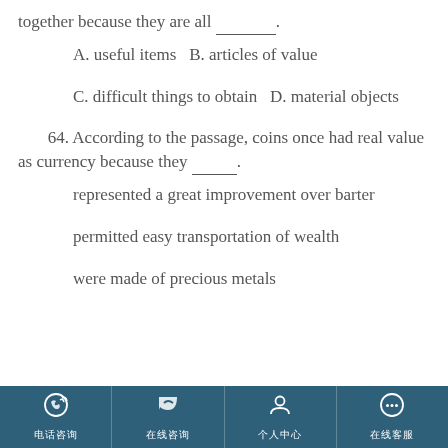together because they are all _________.
A. useful items  B. articles of value
C. difficult things to obtain  D. material objects
64. According to the passage, coins once had real value as currency because they _______.
represented a great improvement over barter
permitted easy transportation of wealth
were made of precious metals
电话咨询  在线咨询  个人中心  在线客服